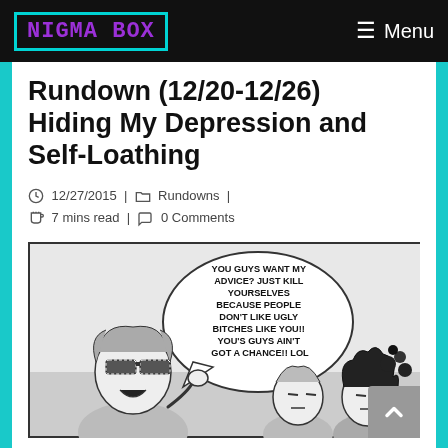NIGMA BOX | Menu
Rundown (12/20-12/26) Hiding My Depression and Self-Loathing
12/27/2015 | Rundowns | 7 mins read | 0 Comments
[Figure (illustration): Black and white manga-style comic panel showing an anime character with striped sunglasses shouting with a speech bubble reading: 'YOU GUYS WANT MY ADVICE? JUST KILL YOURSELVES BECAUSE PEOPLE DON'T LIKE UGLY BITCHES LIKE YOU!! YOU'S GUYS AIN'T GOT A CHANCE!! LOL', with two other characters looking on.]